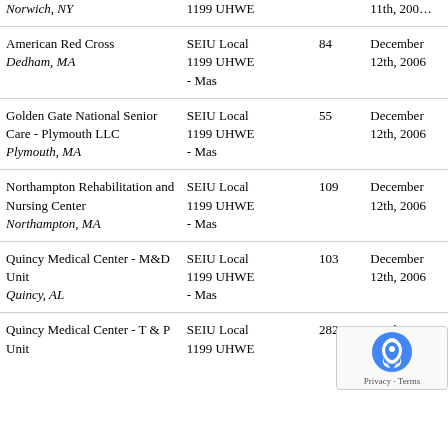| Organization / Location | Union | Workers | Date |
| --- | --- | --- | --- |
| Norwich, NY | 1199 UHWE |  | 11th, 200[6] |
| American Red Cross
Dedham, MA | SEIU Local 1199 UHWE - Mas | 84 | December 12th, 2006 |
| Golden Gate National Senior Care - Plymouth LLC
Plymouth, MA | SEIU Local 1199 UHWE - Mas | 55 | December 12th, 2006 |
| Northampton Rehabilitation and Nursing Center
Northampton, MA | SEIU Local 1199 UHWE - Mas | 109 | December 12th, 2006 |
| Quincy Medical Center - M&D Unit
Quincy, AL | SEIU Local 1199 UHWE - Mas | 103 | December 12th, 2006 |
| Quincy Medical Center - T & P Unit | SEIU Local 1199 UHWE | 282 | December 12th, 200[6] |